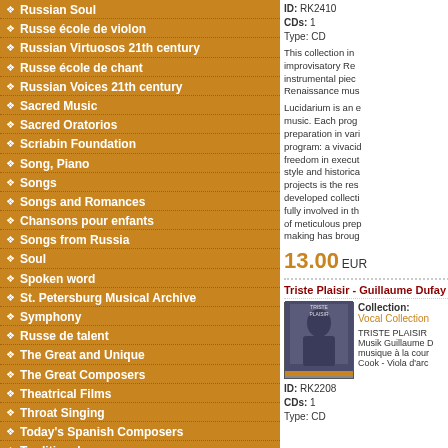Russian Soul
Russe école de violon
Russian Virtuosos 21th century
Russe école de chant
Russian Voices 21th century
Sacred Music
Sacred Oratorios
Scriabin Foundation
Song, Piano
Songs
Songs and Romances
Chansons pour enfants
Songs from Russia
Soul
Spoken word
St. Petersburg Musical Archive
Symphony
Russe de talent
The Great and Unique
The Great Composers
Theatrical Films
Throat Singing
Today's Spanish Composers
Traditional
Trumpet Concerto
ID: RK2410  CDs: 1  Type: CD  This collection includes improvisatory Renaissance instrumental pieces. Renaissance music. Lucidarium is an ensemble... 13.00 EUR
Triste Plaisir - Guillaume Dufay
Collection: Vocal Collection  TRISTE PLAISIR - Musik Guillaume D... musique à la cour... Cook - Viola d'arc...  ID: RK2208  CDs: 1  Type: CD